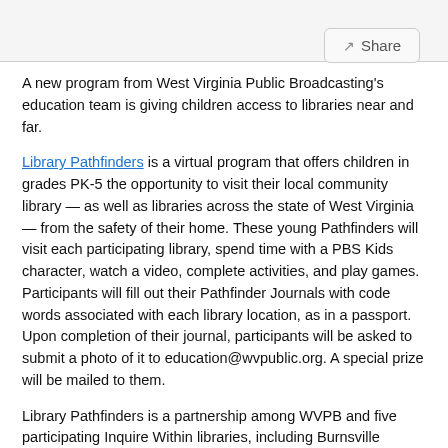Share
A new program from West Virginia Public Broadcasting's education team is giving children access to libraries near and far.
Library Pathfinders is a virtual program that offers children in grades PK-5 the opportunity to visit their local community library — as well as libraries across the state of West Virginia — from the safety of their home. These young Pathfinders will visit each participating library, spend time with a PBS Kids character, watch a video, complete activities, and play games. Participants will fill out their Pathfinder Journals with code words associated with each library location, as in a passport. Upon completion of their journal, participants will be asked to submit a photo of it to education@wvpublic.org. A special prize will be mailed to them.
Library Pathfinders is a partnership among WVPB and five participating Inquire Within libraries, including Burnsville